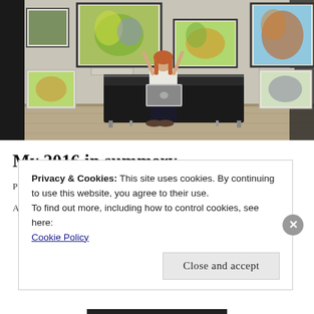[Figure (photo): Woman sitting on a black leather sofa with a laptop, arms raised, surrounded by colorful animal artwork paintings on a white gallery wall. Wooden floor visible.]
My 2016 in summery
Privacy & Cookies: This site uses cookies. By continuing to use this website, you agree to their use.
To find out more, including how to control cookies, see here:
Cookie Policy
Close and accept